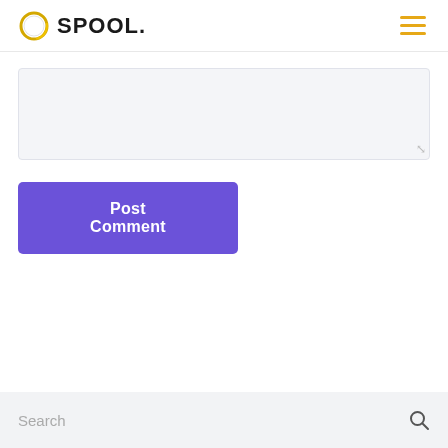SPOOL.
[Figure (other): Text area / comment input box with light grey background and resize handle]
Post Comment
[Figure (other): Search bar with placeholder text 'Search' and magnifying glass icon on light grey background]